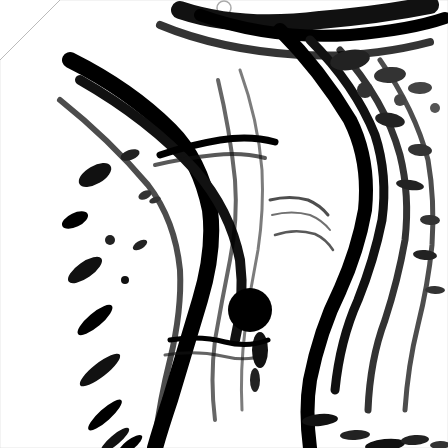[Figure (illustration): Black and white abstract ink brush painting on a tag-shaped white card with a small circular hole punch at the top center. The artwork features bold, gestural black ink strokes, splatters, and sweeping marks against a white background, creating a dynamic abstract composition reminiscent of animal fur texture or energetic calligraphic brushwork. The card has an angled top-left edge giving it a tag shape.]